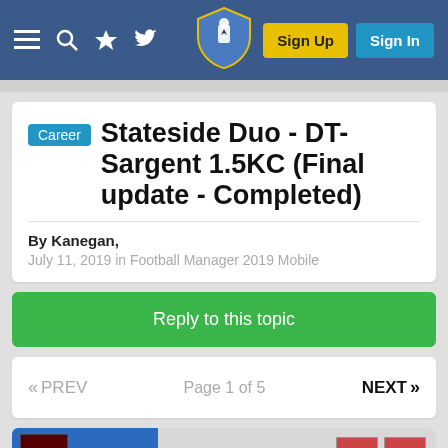Navigation bar with menu, search, favorites, Twitter icons, shield logo, Sign Up and Sign In buttons
Career Stateside Duo - DT-Sargent 1.5KC (Final update - Completed)
By Kanegan,
July 11, 2019 in Football Manager 2019 Mobile
Reply to this topic
« PREV   Page 1 of 5   NEXT »
Kanegan